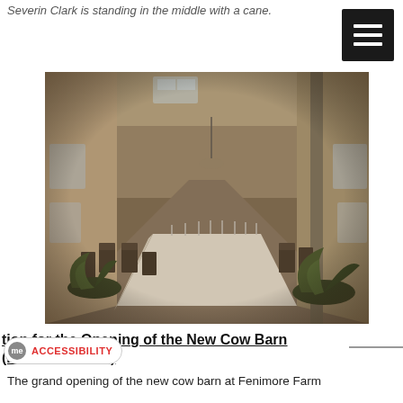Severin Clark is standing in the middle with a cane.
[Figure (photo): Black and white / sepia photograph of the interior of a long barn or hall, with a long white-covered table running down the center, chairs on either side, potted plants, windows along the walls, and a high ceiling with pillars.]
tion for the Opening of the New Cow Barn (Fenimore Farm)
The grand opening of the new cow barn at Fenimore Farm